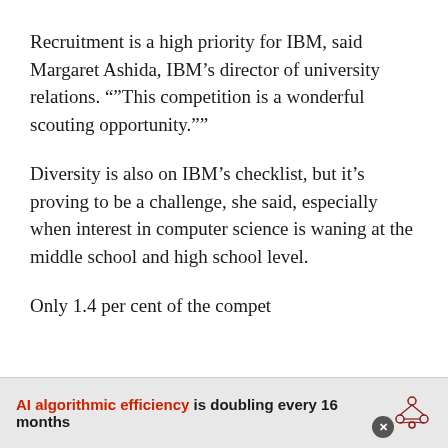Recruitment is a high priority for IBM, said Margaret Ashida, IBM’s director of university relations. “”This competition is a wonderful scouting opportunity.””
Diversity is also on IBM’s checklist, but it’s proving to be a challenge, she said, especially when interest in computer science is waning at the middle school and high school level.
Only 1.4 per cent of the compet
AI algorithmic efficiency is doubling every 16 months